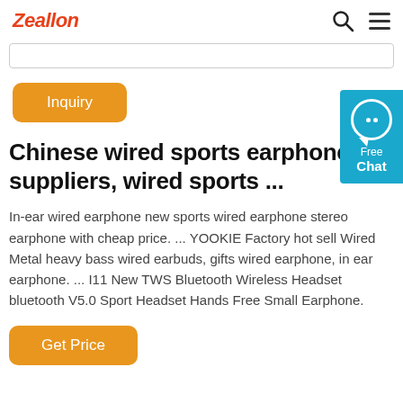Zeallon
Inquiry
Chinese wired sports earphone suppliers, wired sports ...
In-ear wired earphone new sports wired earphone stereo earphone with cheap price. ... YOOKIE Factory hot sell Wired Metal heavy bass wired earbuds, gifts wired earphone, in ear earphone. ... I11 New TWS Bluetooth Wireless Headset bluetooth V5.0 Sport Headset Hands Free Small Earphone.
Get Price